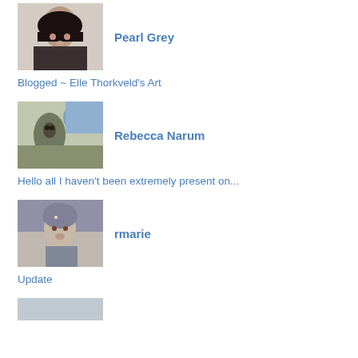[Figure (photo): Avatar portrait of Pearl Grey - dark haired female avatar]
Pearl Grey
Blogged ~ Elle Thorkveld's Art
[Figure (photo): Avatar or nature photo associated with Rebecca Narum - owl or bird on tree]
Rebecca Narum
Hello all I haven't been extremely present on...
[Figure (photo): Avatar portrait of rmarie - fantasy styled avatar]
rmarie
Update
[Figure (photo): Partial avatar image at bottom of page]